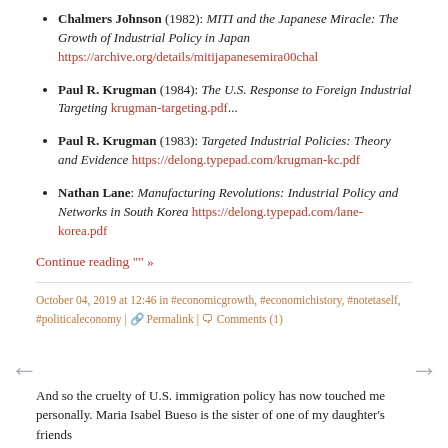Chalmers Johnson (1982): MITI and the Japanese Miracle: The Growth of Industrial Policy in Japan https://archive.org/details/mitijapanesemira00chal
Paul R. Krugman (1984): The U.S. Response to Foreign Industrial Targeting krugman-targeting.pdf...
Paul R. Krugman (1983): Targeted Industrial Policies: Theory and Evidence https://delong.typepad.com/krugman-kc.pdf
Nathan Lane: Manufacturing Revolutions: Industrial Policy and Networks in South Korea https://delong.typepad.com/lane-korea.pdf
Continue reading "" »
October 04, 2019 at 12:46 in #economicgrowth, #economichistory, #notetaself, #politicaleconomy | Permalink | Comments (1)
And so the cruelty of U.S. immigration policy has now touched me personally. Maria Isabel Bueso is the sister of one of my daughter's friends